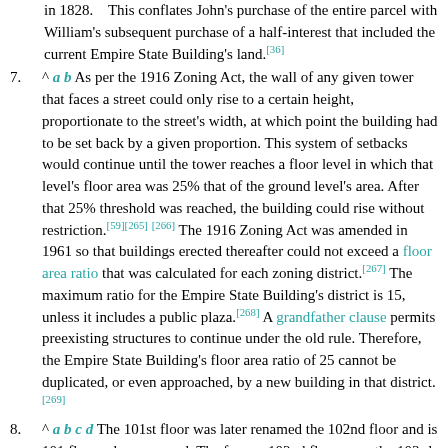in 1828. This conflates John's purchase of the entire parcel with William's subsequent purchase of a half-interest that included the current Empire State Building's land.[36]
7. ^ a b As per the 1916 Zoning Act, the wall of any given tower that faces a street could only rise to a certain height, proportionate to the street's width, at which point the building had to be set back by a given proportion. This system of setbacks would continue until the tower reaches a floor level in which that level's floor area was 25% that of the ground level's area. After that 25% threshold was reached, the building could rise without restriction.[59][265][266] The 1916 Zoning Act was amended in 1961 so that buildings erected thereafter could not exceed a floor area ratio that was calculated for each zoning district.[267] The maximum ratio for the Empire State Building's district is 15, unless it includes a public plaza.[268] A grandfather clause permits preexisting structures to continue under the old rule. Therefore, the Empire State Building's floor area ratio of 25 cannot be duplicated, or even approached, by a new building in that district.[269]
8. ^ a b c d The 101st floor was later renamed the 102nd floor and is 101 floors above ground. The former 102nd floor, now the 103rd floor, is now a balcony that is off-limits to the public and is 102 floors above ground.[163]